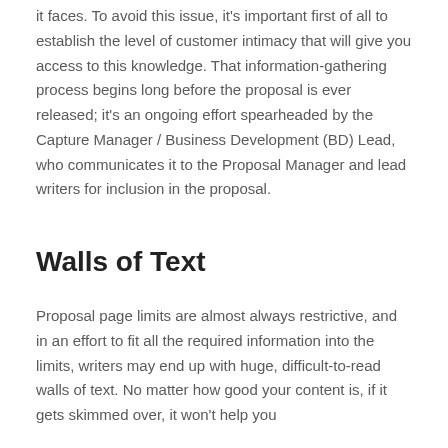it faces. To avoid this issue, it's important first of all to establish the level of customer intimacy that will give you access to this knowledge. That information-gathering process begins long before the proposal is ever released; it's an ongoing effort spearheaded by the Capture Manager / Business Development (BD) Lead, who communicates it to the Proposal Manager and lead writers for inclusion in the proposal.
Walls of Text
Proposal page limits are almost always restrictive, and in an effort to fit all the required information into the limits, writers may end up with huge, difficult-to-read walls of text. No matter how good your content is, if it gets skimmed over, it won't help you